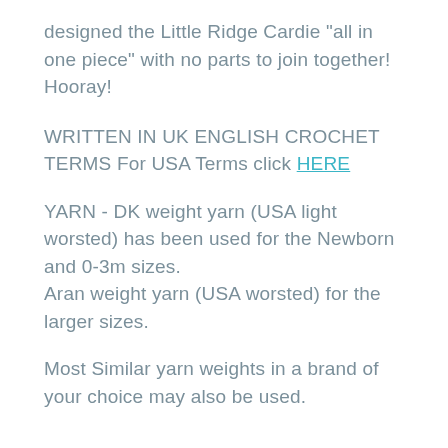designed the Little Ridge Cardie "all in one piece" with no parts to join together! Hooray!
WRITTEN IN UK ENGLISH CROCHET TERMS For USA Terms click HERE
YARN - DK weight yarn (USA light worsted) has been used for the Newborn and 0-3m sizes.
Aran weight yarn (USA worsted) for the larger sizes.
Most Similar yarn weights in a brand of your choice may also be used.